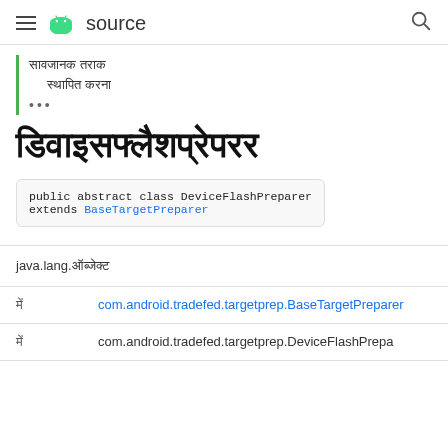≡ android source 🔍
सावजानक तराक
स्थापित करना
•••
डिवाइसफ्लैशप्रेपरर
public abstract class DeviceFlashPreparer extends BaseTargetPreparer
|  |  |
| --- | --- |
| java.lang.ऑब्जेक्ट |  |
| में | com.android.tradefed.targetprep.BaseTargetPreparer |
| में | com.android.tradefed.targetprep.DeviceFlashPreparer |